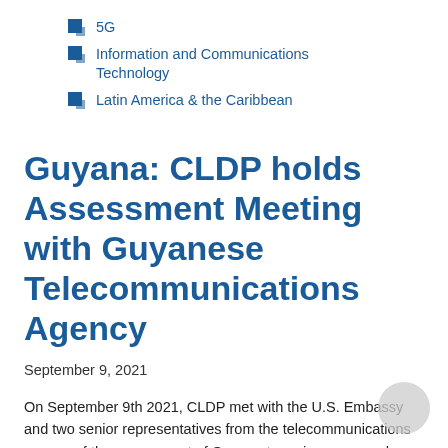5G
Information and Communications Technology
Latin America & the Caribbean
Guyana: CLDP holds Assessment Meeting with Guyanese Telecommunications Agency
September 9, 2021
On September 9th 2021, CLDP met with the U.S. Embassy and two senior representatives from the telecommunications agency of the government of Guyana to review proposed priority areas for